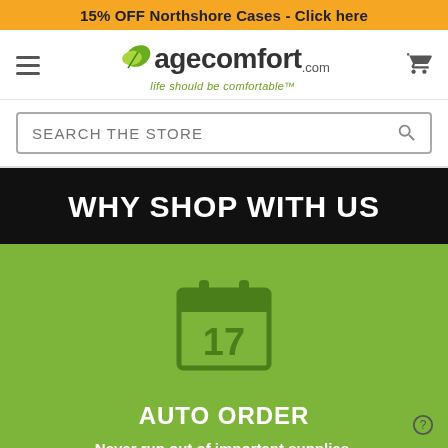15% OFF Northshore Cases - Click here
[Figure (logo): AgeComfort.com logo with green leaf icon and tagline 'life should be comfortable']
SEARCH THE STORE
WHY SHOP WITH US
[Figure (illustration): Calendar icon showing the number 17]
AUTO ORDER
Never run out of important supplies. Discounts on all Auto-Orders.